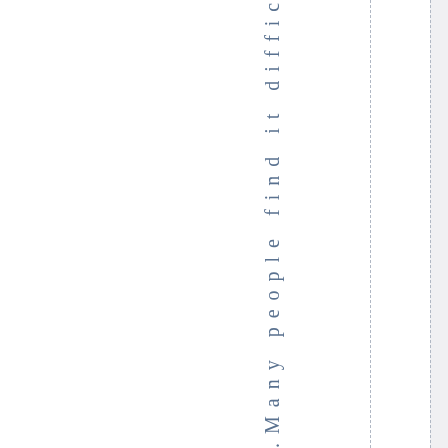.Many people find it difficult